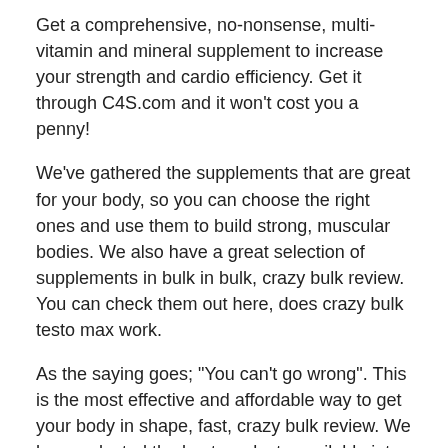Get a comprehensive, no-nonsense, multi-vitamin and mineral supplement to increase your strength and cardio efficiency. Get it through C4S.com and it won't cost you a penny!
We've gathered the supplements that are great for your body, so you can choose the right ones and use them to build strong, muscular bodies. We also have a great selection of supplements in bulk in bulk, crazy bulk review. You can check them out here, does crazy bulk testo max work.
As the saying goes; "You can't go wrong". This is the most effective and affordable way to get your body in shape, fast, crazy bulk review. We have selected the best products available into bulk, bulk nutrients glutamine.
It's time to get your body looking and feeling strong and healthy, bulk crazy bulk bulk.